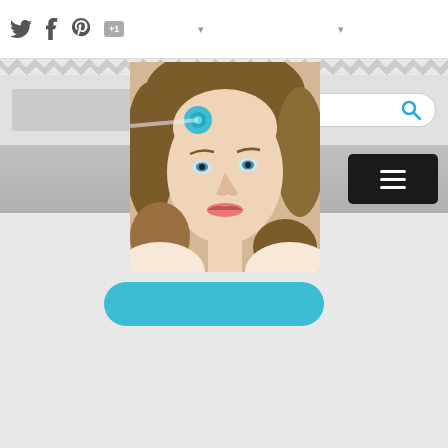[Figure (screenshot): Website screenshot showing social share icons (Twitter, Facebook, Pinterest, Google+1) in top bar, a zigzag decorative border, a header area with blurred logo placeholder and search box with magnifying glass icon, a gray navigation bar with a dark hamburger menu button, a profile photo of a young woman with brown hair wearing a blue flower headband, and a teal rounded rectangle button below the photo.]